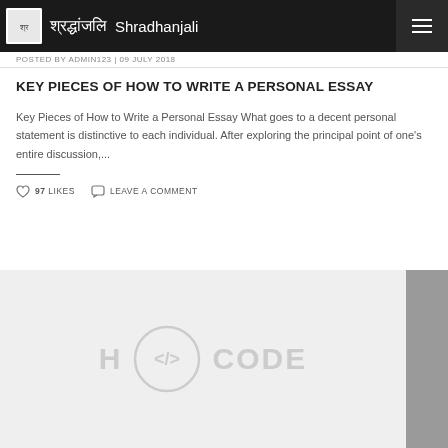Shradhanjali
POSTED BY ADMIN123 | 09 JULY 2018
KEY PIECES OF HOW TO WRITE A PERSONAL ESSAY
Key Pieces of How to Write a Personal Essay What goes to a decent personal statement is distinctive to each individual. After exploring the principal point of one's entire discussion,...
97 LIKES   LEAVE A COMMENT
[Figure (screenshot): Website placeholder image showing 'H </> CODE' logo watermark on a light gray background, with a darker gray sidebar stripe on the right]